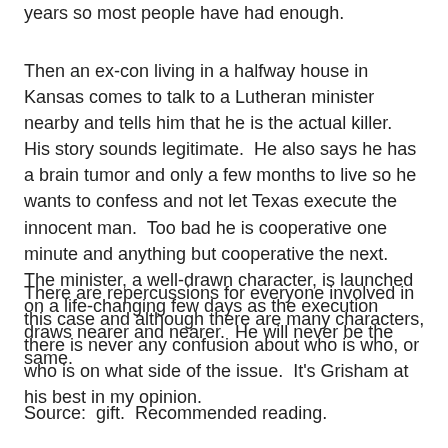years so most people have had enough.
Then an ex-con living in a halfway house in Kansas comes to talk to a Lutheran minister nearby and tells him that he is the actual killer.  His story sounds legitimate.  He also says he has a brain tumor and only a few months to live so he wants to confess and not let Texas execute the innocent man.  Too bad he is cooperative one minute and anything but cooperative the next.  The minister, a well-drawn character, is launched on a life-changing few days as the execution draws nearer and nearer.  He will never be the same.
There are repercussions for everyone involved in this case and although there are many characters, there is never any confusion about who is who, or who is on what side of the issue.  It's Grisham at his best in my opinion.
Source:  gift.  Recommended reading.